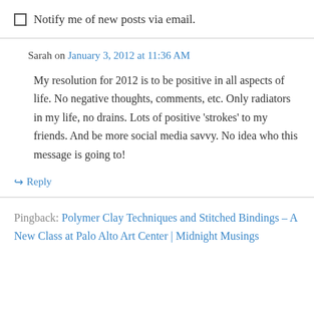☐ Notify me of new posts via email.
Sarah on January 3, 2012 at 11:36 AM
My resolution for 2012 is to be positive in all aspects of life. No negative thoughts, comments, etc. Only radiators in my life, no drains. Lots of positive 'strokes' to my friends. And be more social media savvy. No idea who this message is going to!
↪ Reply
Pingback: Polymer Clay Techniques and Stitched Bindings – A New Class at Palo Alto Art Center | Midnight Musings